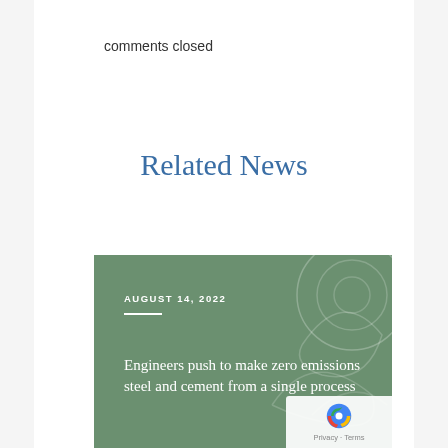comments closed
Related News
[Figure (illustration): News card with green/sage background, decorative swirl pattern, date 'AUGUST 14, 2022', and headline 'Engineers push to make zero emissions steel and cement from a single process']
Engineers push to make zero emissions steel and cement from a single process